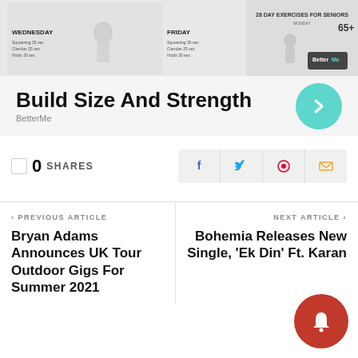[Figure (screenshot): Advertisement banner for BetterMe fitness app showing workout schedule images on the top half and 'Build Size And Strength' text with BetterMe branding and a teal arrow button on the bottom half]
0 SHARES
[Figure (infographic): Social share buttons: Facebook (f), Twitter, Pinterest, Email icons in light gray boxes]
< PREVIOUS ARTICLE
Bryan Adams Announces UK Tour Outdoor Gigs For Summer 2021
NEXT ARTICLE >
Bohemia Releases New Single, 'Ek Din' Ft. Karan ...